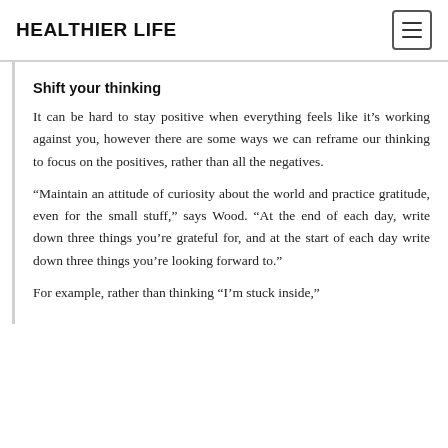HEALTHIER LIFE
Shift your thinking
It can be hard to stay positive when everything feels like it’s working against you, however there are some ways we can reframe our thinking to focus on the positives, rather than all the negatives.
“Maintain an attitude of curiosity about the world and practice gratitude, even for the small stuff,” says Wood. “At the end of each day, write down three things you’re grateful for, and at the start of each day write down three things you’re looking forward to.”
For example, rather than thinking “I’m stuck inside,”